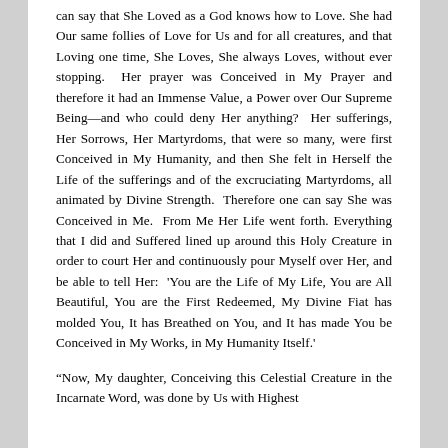can say that She Loved as a God knows how to Love. She had Our same follies of Love for Us and for all creatures, and that Loving one time, She Loves, She always Loves, without ever stopping. Her prayer was Conceived in My Prayer and therefore it had an Immense Value, a Power over Our Supreme Being—and who could deny Her anything? Her sufferings, Her Sorrows, Her Martyrdoms, that were so many, were first Conceived in My Humanity, and then She felt in Herself the Life of the sufferings and of the excruciating Martyrdoms, all animated by Divine Strength. Therefore one can say She was Conceived in Me. From Me Her Life went forth. Everything that I did and Suffered lined up around this Holy Creature in order to court Her and continuously pour Myself over Her, and be able to tell Her: 'You are the Life of My Life, You are All Beautiful, You are the First Redeemed, My Divine Fiat has molded You, It has Breathed on You, and It has made You be Conceived in My Works, in My Humanity Itself.'
“Now, My daughter, Conceiving this Celestial Creature in the Incarnate Word, was done by Us with Highest